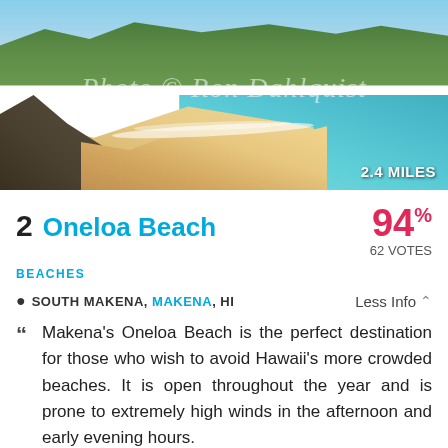[Figure (photo): Aerial/elevated view of Oneloa Beach (Makena Beach) in Maui, Hawaii, showing a wide sandy beach with turquoise ocean water, green forested hills in the background, and dark lava rocks in the foreground. Watermark reads 'Photo © Ron Dahlquist'. Distance badge shows '2.4 MILES'.]
2 Oneloa Beach
94% 62 VOTES
BEACHES
SOUTH MAKENA, MAKENA, HI
Less Info
Makena's Oneloa Beach is the perfect destination for those who wish to avoid Hawaii's more crowded beaches. It is open throughout the year and is prone to extremely high winds in the afternoon and early evening hours.